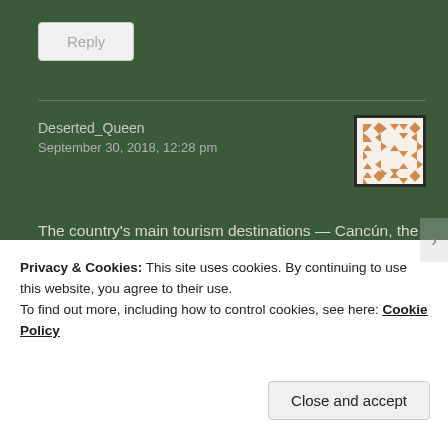Reply
Deserted_Queen
September 30, 2018, 12:28 pm
[Figure (other): Avatar image: orange geometric patterned square tile on dark background]
The country's main tourism destinations — Cancún, the Mayan Riviera, Los Cabos, Puerto Vallarta, Riviera Nayarit, and Mexico City — have no travel restrictions, thats why i love that place.
Privacy & Cookies: This site uses cookies. By continuing to use this website, you agree to their use.
To find out more, including how to control cookies, see here: Cookie Policy
Close and accept